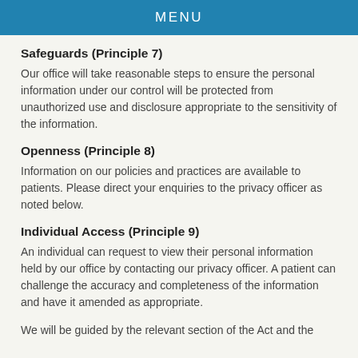MENU
Safeguards (Principle 7)
Our office will take reasonable steps to ensure the personal information under our control will be protected from unauthorized use and disclosure appropriate to the sensitivity of the information.
Openness (Principle 8)
Information on our policies and practices are available to patients. Please direct your enquiries to the privacy officer as noted below.
Individual Access (Principle 9)
An individual can request to view their personal information held by our office by contacting our privacy officer. A patient can challenge the accuracy and completeness of the information and have it amended as appropriate.
We will be guided by the relevant section of the Act and the